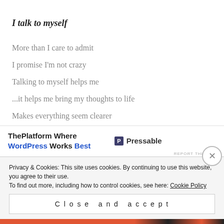I talk to myself
More than I care to admit
I promise I'm not crazy
Talking to myself helps me
...it helps me bring my thoughts to life
Makes everything seem clearer
[Figure (other): Advertisement banner: ThePlatform Where WordPress Works Best — Pressable logo]
Lover of dance
Dance is my cardio
Privacy & Cookies: This site uses cookies. By continuing to use this website, you agree to their use. To find out more, including how to control cookies, see here: Cookie Policy
Close and accept